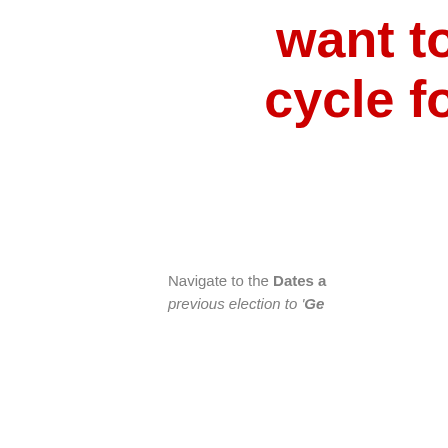want to cycle fo
Navigate to the Dates a previous election to 'Ge